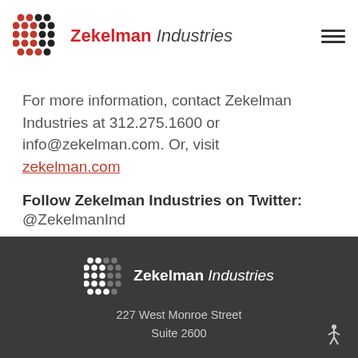Zekelman Industries
For more information, contact Zekelman Industries at 312.275.1600 or info@zekelman.com. Or, visit zekelman.com.
Follow Zekelman Industries on Twitter:
@ZekelmanInd
Zekelman Industries
227 West Monroe Street
Suite 2600